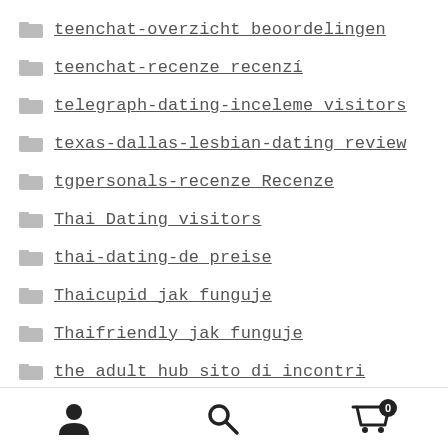teenchat-overzicht beoordelingen
teenchat-recenze recenzí
telegraph-dating-inceleme visitors
texas-dallas-lesbian-dating review
tgpersonals-recenze Recenze
Thai Dating visitors
thai-dating-de preise
Thaicupid jak funguje
Thaifriendly jak funguje
the adult hub sito di incontri
The League visitors
user icon | search icon | cart icon (0)